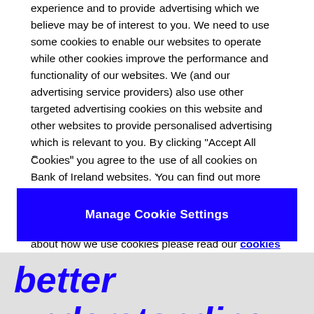experience and to provide advertising which we believe may be of interest to you. We need to use some cookies to enable our websites to operate while other cookies improve the performance and functionality of our websites. We (and our advertising service providers) also use other targeted advertising cookies on this website and other websites to provide personalised advertising which is relevant to you. By clicking "Accept All Cookies" you agree to the use of all cookies on Bank of Ireland websites. You can find out more about the different types of cookies we use and manage your cookie settings on this website by clicking "Manage Cookie Settings". To find out more about how we use cookies please read our cookies policy.
Manage Cookie Settings
better understanding of the global events